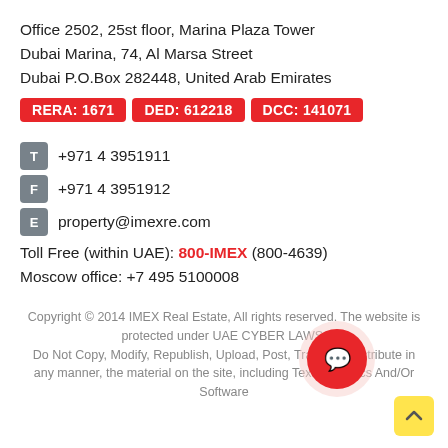Office 2502, 25st floor, Marina Plaza Tower
Dubai Marina, 74, Al Marsa Street
Dubai P.O.Box 282448, United Arab Emirates
RERA: 1671  DED: 612218  DCC: 141071
+971 4 3951911
+971 4 3951912
property@imexre.com
Toll Free (within UAE): 800-IMEX (800-4639)
Moscow office: +7 495 5100008
Copyright © 2014 IMEX Real Estate, All rights reserved. The website is protected under UAE CYBER LAWS, Do Not Copy, Modify, Republish, Upload, Post, Transmit, Distribute in any manner, the material on the site, including Text, Graphics And/Or Software